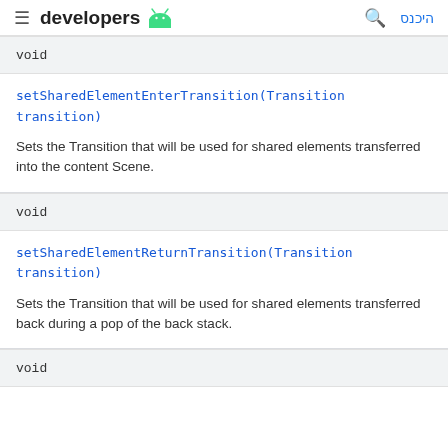developers
void
setSharedElementEnterTransition(Transition transition)
Sets the Transition that will be used for shared elements transferred into the content Scene.
void
setSharedElementReturnTransition(Transition transition)
Sets the Transition that will be used for shared elements transferred back during a pop of the back stack.
void